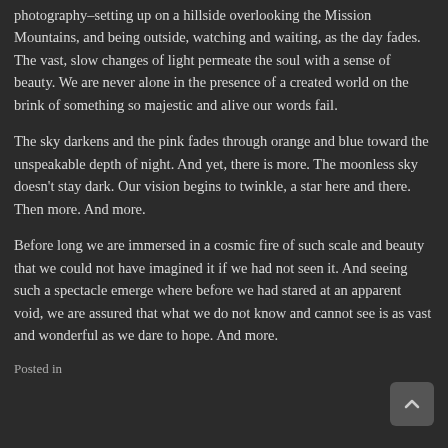photography–setting up on a hillside overlooking the Mission Mountains, and being outside, watching and waiting, as the day fades. The vast, slow changes of light permeate the soul with a sense of beauty. We are never alone in the presence of a created world on the brink of something so majestic and alive our words fail.
The sky darkens and the pink fades through orange and blue toward the unspeakable depth of night. And yet, there is more. The moonless sky doesn't stay dark. Our vision begins to twinkle, a star here and there. Then more. And more.
Before long we are immersed in a cosmic fire of such scale and beauty that we could not have imagined it if we had not seen it. And seeing such a spectacle emerge where before we had stared at an apparent void, we are assured that what we do not know and cannot see is as vast and wonderful as we dare to hope. And more.
Posted in [partial text cut off]